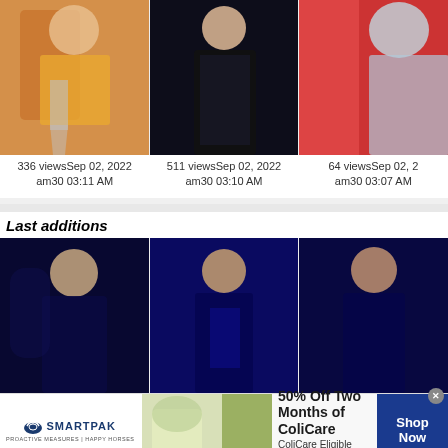[Figure (photo): Fashion photo showing woman in orange/gold pleated skirt on white background]
[Figure (photo): Fashion photo showing woman in black sequin dress on dark background]
[Figure (photo): Fashion photo showing woman in light blue outfit on red background]
336 viewsSep 02, 2022
am30 03:11 AM
511 viewsSep 02, 2022
am30 03:10 AM
64 viewsSep 02, 2
am30 03:07 AM
Last additions
[Figure (photo): Woman in black dress on dark blue background, looking sideways]
[Figure (photo): Woman in black top on blue background, looking down]
[Figure (photo): Woman in dark sleeveless dress on dark blue background]
[Figure (infographic): SmartPak advertisement: 50% Off Two Months of ColiCare, ColiCare Eligible Supplements, CODE: COLICARE10, Shop Now button]